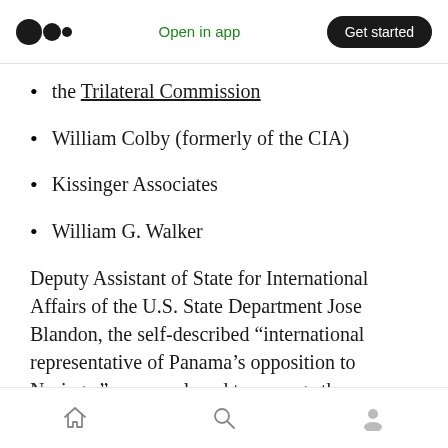Medium logo | Open in app | Get started
the Trilateral Commission
William Colby (formerly of the CIA)
Kissinger Associates
William G. Walker
Deputy Assistant of State for International Affairs of the U.S. State Department Jose Blandon, the self-described “international representative of Panama’s opposition to Noriega,” was employed to manage the
Home | Search | Profile